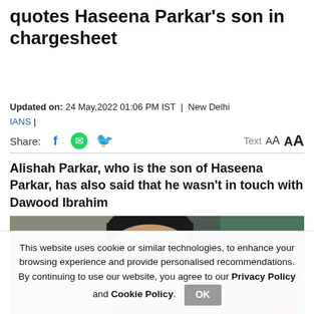Dawood Ibrahim is in Karachi: ED quotes Haseena Parkar's son in chargesheet
Updated on: 24 May,2022 01:06 PM IST | New Delhi
IANS |
Share: [Facebook] [WhatsApp] [Twitter]   Text AA AA
Alishah Parkar, who is the son of Haseena Parkar, has also said that he wasn't in touch with Dawood Ibrahim
[Figure (photo): Photo of a man with dark hair, facing the camera, taken at a press event.]
This website uses cookie or similar technologies, to enhance your browsing experience and provide personalised recommendations. By continuing to use our website, you agree to our Privacy Policy and Cookie Policy.